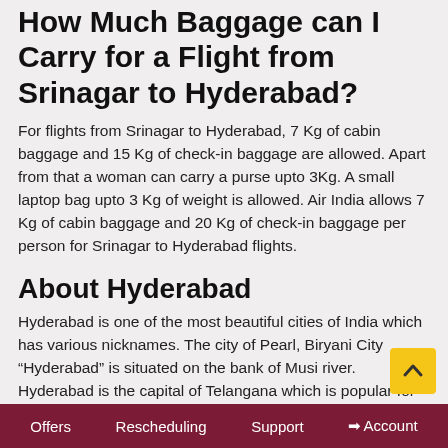How Much Baggage can I Carry for a Flight from Srinagar to Hyderabad?
For flights from Srinagar to Hyderabad, 7 Kg of cabin baggage and 15 Kg of check-in baggage are allowed. Apart from that a woman can carry a purse upto 3Kg. A small laptop bag upto 3 Kg of weight is allowed. Air India allows 7 Kg of cabin baggage and 20 Kg of check-in baggage per person for Srinagar to Hyderabad flights.
About Hyderabad
Hyderabad is one of the most beautiful cities of India which has various nicknames. The city of Pearl, Biryani City “Hyderabad” is situated on the bank of Musi river. Hyderabad is the capital of Telangana which is popular for its mouth watering food, products and significant trades.
Offers   Rescheduling   Support   →Account